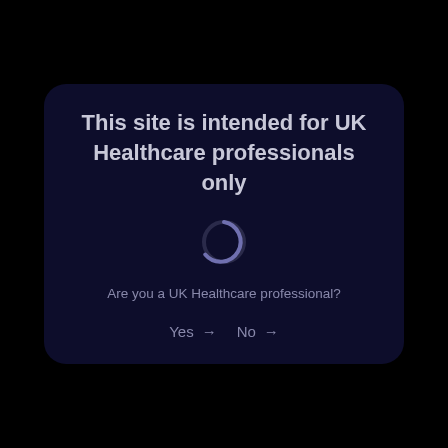This site is intended for UK Healthcare professionals only
[Figure (other): A circular loading spinner icon, partially filled with a dark purple/grey arc, indicating a loading state.]
Are you a UK Healthcare professional?
Yes → No →